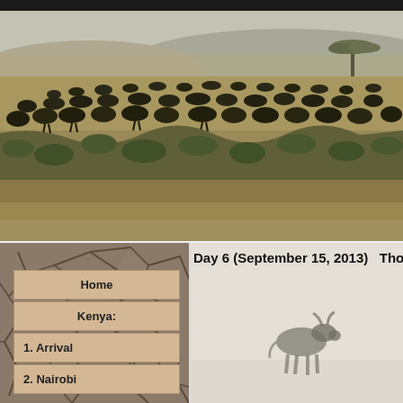[Figure (photo): Wide savanna landscape showing a large herd of wildebeest on dry grasslands with a rocky escarpment/gully in the foreground, green scrub vegetation, a lone acacia tree on the horizon, and hazy sky. Serengeti or Maasai Mara setting.]
[Figure (photo): Cracked dry earth texture used as background for navigation menu on left side of bottom section.]
Home
Kenya:
1. Arrival
2. Nairobi
Day 6 (September 15, 2013)   Thomson
[Figure (photo): Single wildebeest silhouette standing in misty/dusty pale conditions, nearly invisible in the haze, bottom-right section of page.]